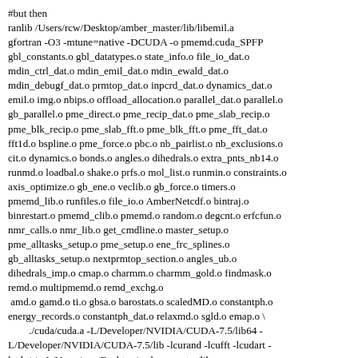#but then
ranlib /Users/rcw/Desktop/amber_master/lib/libemil.a
gfortran -O3 -mtune=native -DCUDA -o pmemd.cuda_SPFP
gbl_constants.o gbl_datatypes.o state_info.o file_io_dat.o
mdin_ctrl_dat.o mdin_emil_dat.o mdin_ewald_dat.o
mdin_debugf_dat.o prmtop_dat.o inpcrd_dat.o dynamics_dat.o
emil.o img.o nbips.o offload_allocation.o parallel_dat.o parallel.o
gb_parallel.o pme_direct.o pme_recip_dat.o pme_slab_recip.o
pme_blk_recip.o pme_slab_fft.o pme_blk_fft.o pme_fft_dat.o
fft1d.o bspline.o pme_force.o pbc.o nb_pairlist.o nb_exclusions.o
cit.o dynamics.o bonds.o angles.o dihedrals.o extra_pnts_nb14.o
runmd.o loadbal.o shake.o prfs.o mol_list.o runmin.o constraints.o
axis_optimize.o gb_ene.o veclib.o gb_force.o timers.o
pmemd_lib.o runfiles.o file_io.o AmberNetcdf.o bintraj.o
binrestart.o pmemd_clib.o pmemd.o random.o degcnt.o erfcfun.o
nmr_calls.o nmr_lib.o get_cmdline.o master_setup.o
pme_alltasks_setup.o pme_setup.o ene_frc_splines.o
gb_alltasks_setup.o nextprmtop_section.o angles_ub.o
dihedrals_imp.o cmap.o charmm.o charmm_gold.o findmask.o
remd.o multipmemd.o remd_exchg.o
 amd.o gamd.o ti.o gbsa.o barostats.o scaledMD.o constantph.o
energy_records.o constantph_dat.o relaxmd.o sgld.o emap.o \
        ./cuda/cuda.a -L/Developer/NVIDIA/CUDA-7.5/lib64 -
L/Developer/NVIDIA/CUDA-7.5/lib -lcurand -lcufft -lcudart -
lstdc++ -L/Users/rcw/Desktop/amber_master/lib